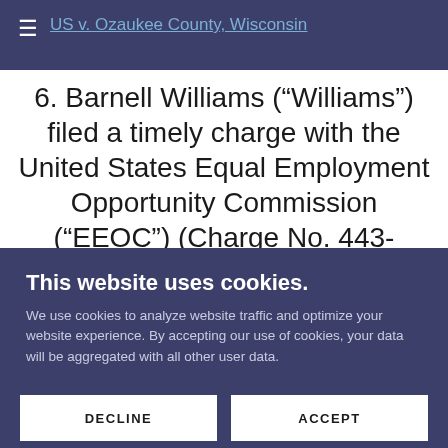US v. Ozaukee County, Wisconsin
6. Barnell Williams (“Williams”) filed a timely charge with the United States Equal Employment Opportunity Commission (“EEOC”) (Charge No. 443-2017-00079) on or about October 25, 2016, alleging that Defendant discriminated against her in
This website uses cookies.
We use cookies to analyze website traffic and optimize your website experience. By accepting our use of cookies, your data will be aggregated with all other user data.
DECLINE
ACCEPT